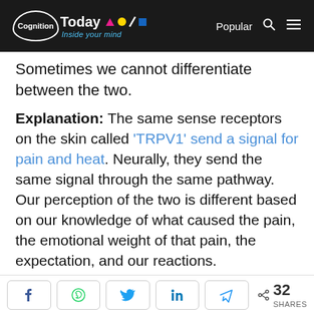Cognition Today — Inside your mind | Popular
Sometimes we cannot differentiate between the two.
Explanation: The same sense receptors on the skin called 'TRPV1' send a signal for pain and heat. Neurally, they send the same signal through the same pathway. Our perception of the two is different based on our knowledge of what caused the pain, the emotional weight of that pain, the expectation, and our reactions. Our reactions can further fuel our feelings and intensify them through positive feedback
32 SHARES (social share buttons: Facebook, WhatsApp, Twitter, LinkedIn, Telegram)